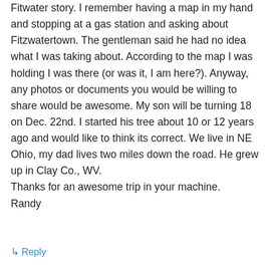Fitwater story. I remember having a map in my hand and stopping at a gas station and asking about Fitzwatertown. The gentleman said he had no idea what I was taking about. According to the map I was holding I was there (or was it, I am here?). Anyway, any photos or documents you would be willing to share would be awesome. My son will be turning 18 on Dec. 22nd. I started his tree about 10 or 12 years ago and would like to think its correct. We live in NE Ohio, my dad lives two miles down the road. He grew up in Clay Co., WV.
Thanks for an awesome trip in your machine.
Randy
↳ Reply